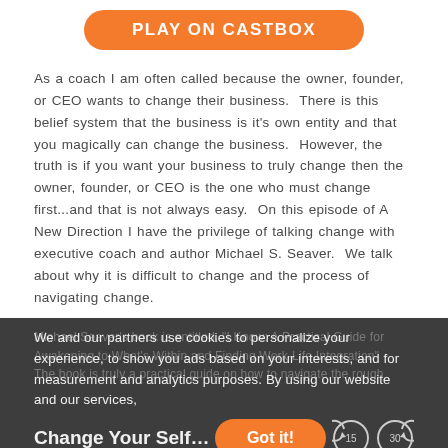[Figure (other): Orange rounded rectangle button labeled PLAY ON CASTBOX]
As a coach I am often called because the owner, founder, or CEO wants to change their business. There is this belief system that the business is it's own entity and that you magically can change the business. However, the truth is if you want your business to truly change then the owner, founder, or CEO is the one who must change first...and that is not always easy. On this episode of A New Direction I have the privilege of talking change with executive coach and author Michael S. Seaver. We talk about why it is difficult to change and the process of navigating change.
We and our partners use cookies to personalize your experience, to show you ads based on your interests, and for measurement and analytics purposes. By using our website and our services,
Michael Seaver's book is entitled, "I Know: A Practical Guide for Awakening to What's Within and Finding Work-Life Integration" The book is truly a practical guide on how to navigate the rough
Change Your Self...
[Figure (other): Orange rounded rectangle Got it! button]
[Figure (other): Rewind 15 seconds circle button]
[Figure (other): Forward 30 seconds circle button]
A New Direction